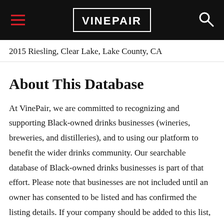VINEPAIR
2015 Riesling, Clear Lake, Lake County, CA
About This Database
At VinePair, we are committed to recognizing and supporting Black-owned drinks businesses (wineries, breweries, and distilleries), and to using our platform to benefit the wider drinks community. Our searchable database of Black-owned drinks businesses is part of that effort. Please note that businesses are not included until an owner has consented to be listed and has confirmed the listing details. If your company should be added to this list, please reach out to editor@vinepair.com